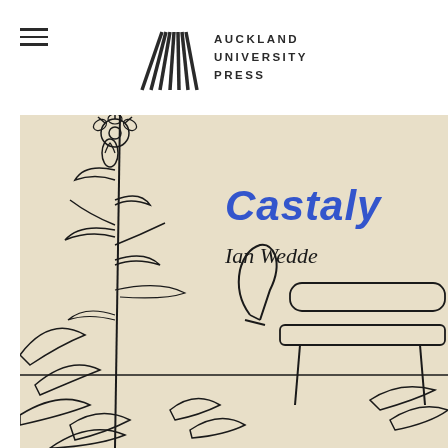Auckland University Press
[Figure (illustration): Book cover for 'Castaly' by Ian Wedde, published by Auckland University Press. The cover features a line drawing illustration of flowers and plants with furniture on a cream/beige background. The title 'Castaly' appears in bold blue italic text and the author name 'Ian Wedde' appears in italic black text.]